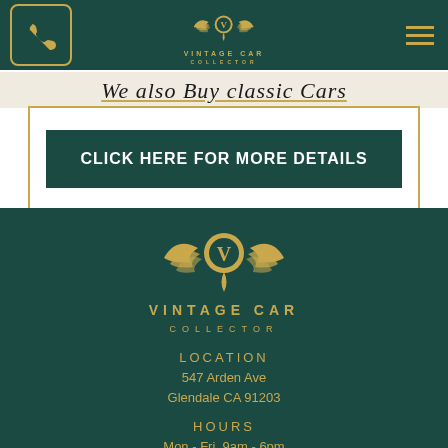[Figure (logo): Vintage Car Collector logo with wings and V emblem in gold on dark teal background - navigation bar]
We also Buy classic Cars
CLICK HERE FOR MORE DETAILS
[Figure (logo): Vintage Car Collector large logo with wings and V emblem in gold on dark teal footer]
VINTAGE CAR
COLLECTOR
LOCATION
547 Arden Ave
Glendale CA 91203
HOURS
Mon - Fri  9am - 6pm